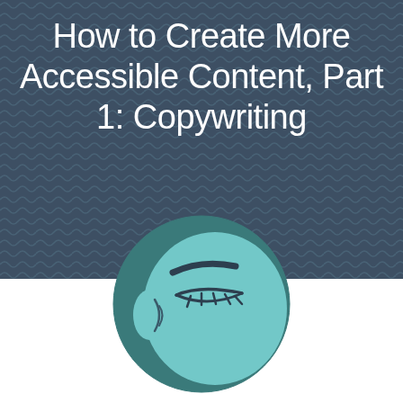How to Create More Accessible Content, Part 1: Copywriting
[Figure (illustration): A circular illustration of a stylized human head profile showing a closed eye with lashes and an ear, rendered in teal/cyan tones against a darker teal background circle.]